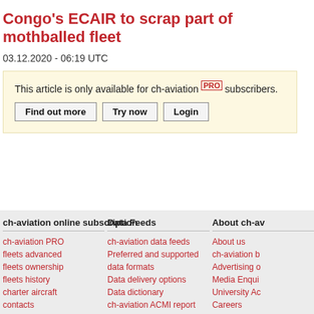Congo's ECAIR to scrap part of mothballed fleet
03.12.2020 - 06:19 UTC
This article is only available for ch-aviation PRO subscribers.
ch-aviation online subscription
Data Feeds
About ch-av
ch-aviation PRO
fleets advanced
fleets ownership
fleets history
charter aircraft
contacts
schedules
capacities
pss
ch-aviation data feeds
Preferred and supported data formats
Data delivery options
Data dictionary
ch-aviation ACMI report
Web check-in link data
About us
ch-aviation b
Advertising o
Media Enqui
University Ac
Careers